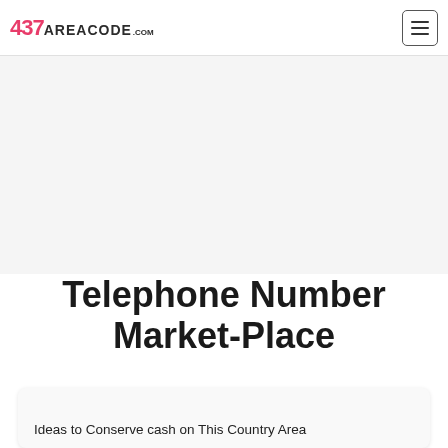437AREACODE.com
[Figure (other): Gray banner / advertisement placeholder area]
Telephone Number Market-Place
Ideas to Conserve cash on This Country Area